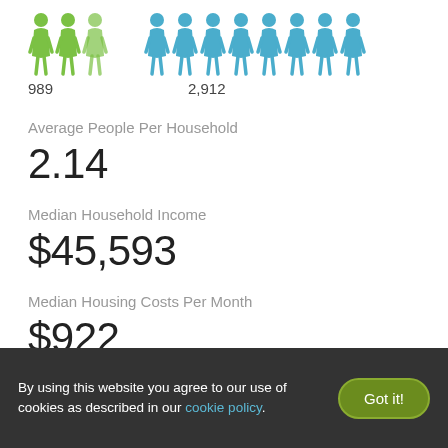[Figure (infographic): Person icons showing children (green) vs no children (blue). 989 children, 2,912 no children.]
989
2,912
Average People Per Household
2.14
Median Household Income
$45,593
Median Housing Costs Per Month
$922
By using this website you agree to our use of cookies as described in our cookie policy.